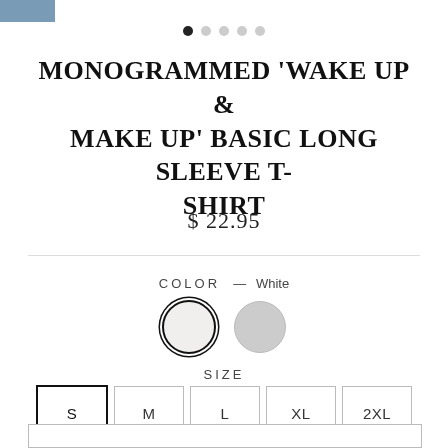[Figure (other): Image carousel navigation dots with 5 dots, first dot filled/active]
MONOGRAMMED 'WAKE UP & MAKE UP' BASIC LONG SLEEVE T-SHIRT
$ 22.95
COLOR — White
[Figure (other): Two circular color swatches: white (selected with black border) and light gray]
SIZE
S  M  L  XL  2XL (size selector buttons, S is selected)